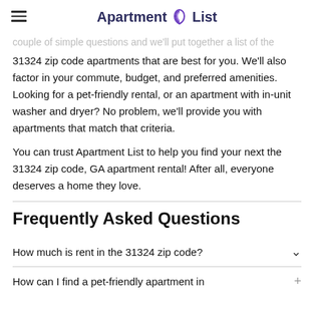Apartment List
couple of simple questions and we'll put together a list of the 31324 zip code apartments that are best for you. We'll also factor in your commute, budget, and preferred amenities. Looking for a pet-friendly rental, or an apartment with in-unit washer and dryer? No problem, we'll provide you with apartments that match that criteria.
You can trust Apartment List to help you find your next the 31324 zip code, GA apartment rental! After all, everyone deserves a home they love.
Frequently Asked Questions
How much is rent in the 31324 zip code?
How can I find a pet-friendly apartment in